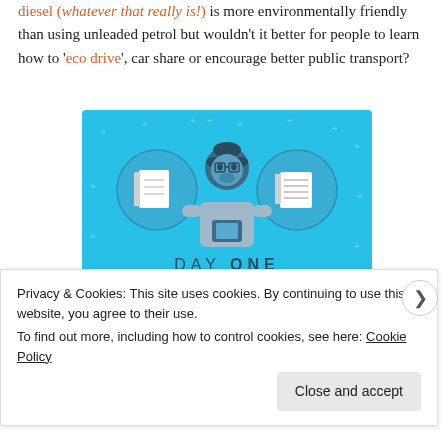diesel (whatever that really is!) is more environmentally friendly than using unleaded petrol but wouldn't it better for people to learn how to 'eco drive', car share or encourage better public transport?
[Figure (illustration): Day One journaling app advertisement. Blue background with a cartoon figure holding a phone, flanked by two notebook icons. Text reads 'DAY ONE - The only journaling app you'll ever need.']
Privacy & Cookies: This site uses cookies. By continuing to use this website, you agree to their use.
To find out more, including how to control cookies, see here: Cookie Policy
Close and accept